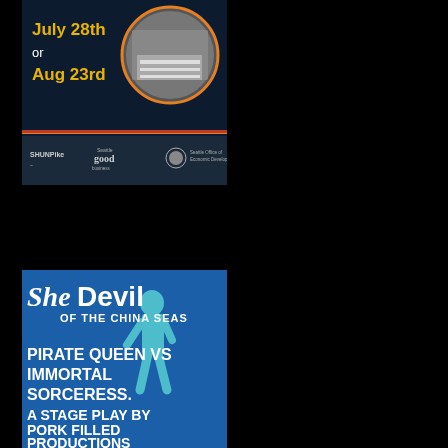[Figure (illustration): Event poster on dark navy background with yellow/gold text reading 'July 28th or Aug 23rd' and circular photo of a street scene. Bottom shows logos for SHUNPike, Seattle good business, and Seattle Office of Economic Development.]
[Figure (illustration): Theatre poster on blue background. Large stylized text 'She Devil OF THE CHINA SEAS' with a teal silhouette of a person. Text reads 'PIRATE QUEEN VS IMMORTAL SORCERESS. A STAGE PLAY BY PORK FILLED PRODUCTIONS']